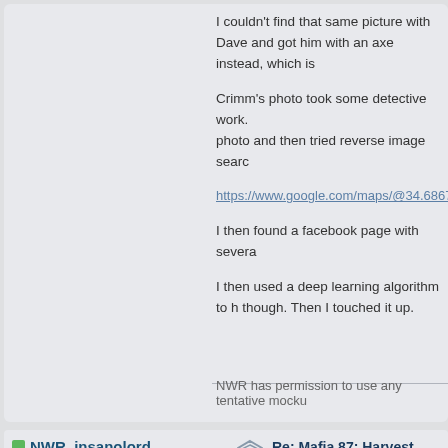I couldn't find that same picture with Dave and got him with an axe instead, which is
Crimm's photo took some detective work. photo and then tried reverse image searc
https://www.google.com/maps/@34.6867
I then found a facebook page with severa
I then used a deep learning algorithm to h though. Then I touched it up.
NWR has permission to use any tentative mocku
NWR_insanolord
Rocket Fuel Malt Liquor....DAMN!
NWR Staff Pro
[Figure (photo): Avatar photo of a young man in a dark suit holding something up]
Re: Mafia 87: Harvest Moon - Sea 6.
« Reply #7 on: November 29, 2021, 03:38:31 AM
Quote from: BeautifulShy on November 29, 202
Was there another townie alliance after I died be Mafia got in and killed TopHatAnt123 and seal th